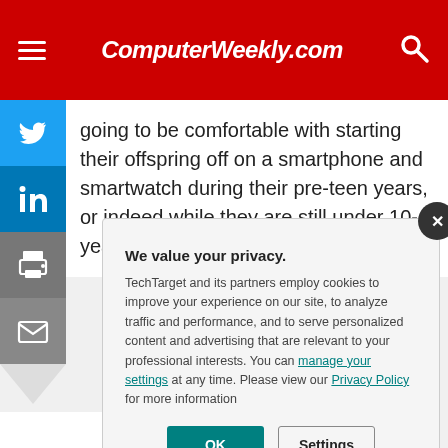ComputerWeekly.com
going to be comfortable with starting their offspring off on a smartphone and smartwatch during their pre-teen years, or indeed while they are still under 10-years old.
We value your privacy. TechTarget and its partners employ cookies to improve your experience on our site, to analyze traffic and performance, and to serve personalized content and advertising that are relevant to your professional interests. You can manage your settings at any time. Please view our Privacy Policy for more information